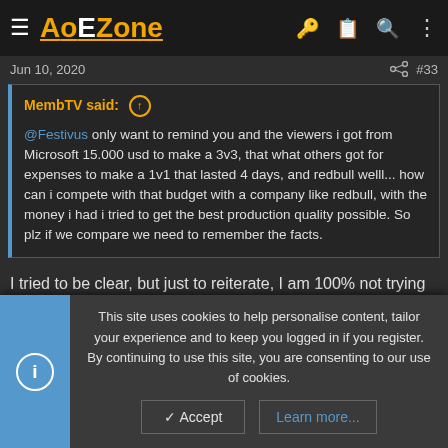AoEZone
Jun 10, 2020  #33
MembTV said: ↑ @Festivus only want to remind you and the viewers i got from Microsoft 15.000 usd to make a 3v3, that what others got for expenses to make a 1v1 that lasted 4 days, and redbull welll... how can i compete with that budget with a company like redbull, with the money i had i tried to get the best production quality possible. So plz if we compare we need to remember the facts.
I tried to be clear, but just to reiterate, I am 100% not trying to criticize the production of the current event and already admitted in
This site uses cookies to help personalise content, tailor your experience and to keep you logged in if you register. By continuing to use this site, you are consenting to our use of cookies.
✓ Accept   Learn more...